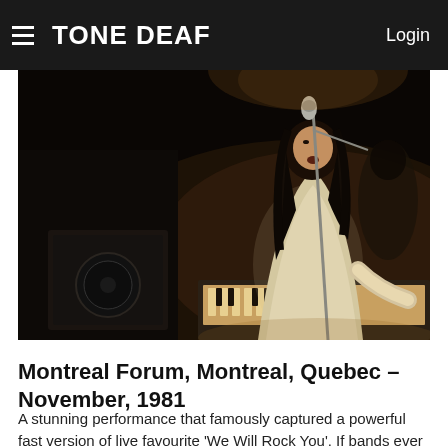TONE DEAF   Login
[Figure (photo): Concert performance photo showing a performer with long dark hair singing into a microphone at a keyboard, wearing a white outfit, in a dark stage setting. Montreal Forum, November 1981.]
Montreal Forum, Montreal, Quebec – November, 1981
A stunning performance that famously captured a powerful fast version of live favourite 'We Will Rock You'. If bands ever needed a lesson in how to open a show, this is it.